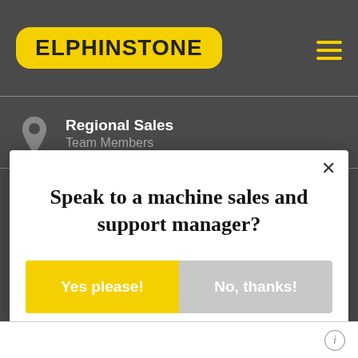[Figure (logo): Elphinstone logo — yellow rounded rectangle with bold black text 'ELPHINSTONE']
Regional Sales
Team Members
Product Support
Speak to a machine sales and support manager?
Yes please!
No, thanks!